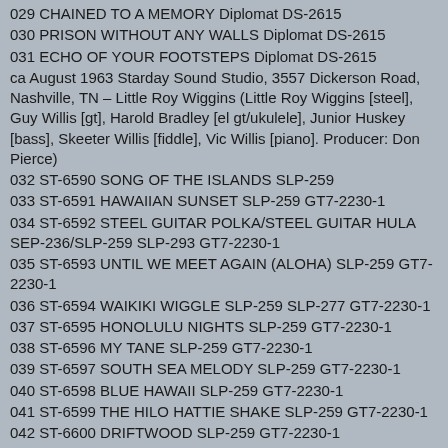029 CHAINED TO A MEMORY Diplomat DS-2615
030 PRISON WITHOUT ANY WALLS Diplomat DS-2615
031 ECHO OF YOUR FOOTSTEPS Diplomat DS-2615
ca August 1963 Starday Sound Studio, 3557 Dickerson Road, Nashville, TN – Little Roy Wiggins (Little Roy Wiggins [steel], Guy Willis [gt], Harold Bradley [el gt/ukulele], Junior Huskey [bass], Skeeter Willis [fiddle], Vic Willis [piano]. Producer: Don Pierce)
032 ST-6590 SONG OF THE ISLANDS SLP-259
033 ST-6591 HAWAIIAN SUNSET SLP-259 GT7-2230-1
034 ST-6592 STEEL GUITAR POLKA/STEEL GUITAR HULA SEP-236/SLP-259 SLP-293 GT7-2230-1
035 ST-6593 UNTIL WE MEET AGAIN (ALOHA) SLP-259 GT7-2230-1
036 ST-6594 WAIKIKI WIGGLE SLP-259 SLP-277 GT7-2230-1
037 ST-6595 HONOLULU NIGHTS SLP-259 GT7-2230-1
038 ST-6596 MY TANE SLP-259 GT7-2230-1
039 ST-6597 SOUTH SEA MELODY SLP-259 GT7-2230-1
040 ST-6598 BLUE HAWAII SLP-259 GT7-2230-1
041 ST-6599 THE HILO HATTIE SHAKE SLP-259 GT7-2230-1
042 ST-6600 DRIFTWOOD SLP-259 GT7-2230-1